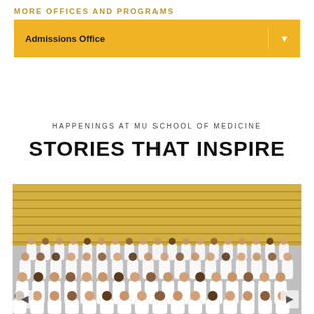MORE OFFICES AND PROGRAMS
Admissions Office
HAPPENINGS AT MU SCHOOL OF MEDICINE
STORIES THAT INSPIRE
[Figure (photo): Group photo of medical school students in white coats seated/standing in tiered auditorium with gold/yellow bleacher seats in the background. Navigation arrows visible on left and right sides.]